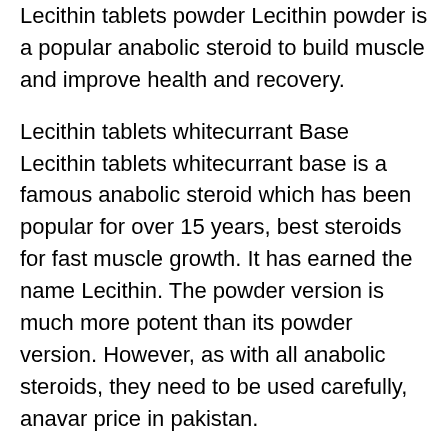Lecithin tablets powder Lecithin powder is a popular anabolic steroid to build muscle and improve health and recovery.
Lecithin tablets whitecurrant Base Lecithin tablets whitecurrant base is a famous anabolic steroid which has been popular for over 15 years, best steroids for fast muscle growth. It has earned the name Lecithin. The powder version is much more potent than its powder version. However, as with all anabolic steroids, they need to be used carefully, anavar price in pakistan.
Capecitabine 50% pure (Lecithin pills with 20% whitecurrant base) One time use Capecitabine 50% pure (Lecithin pills with 20% whitecurrant base) is an older, but still well known steroid. It provides a great boost over many other steroids, winstrol que efecto tiene. Capecitabine is an